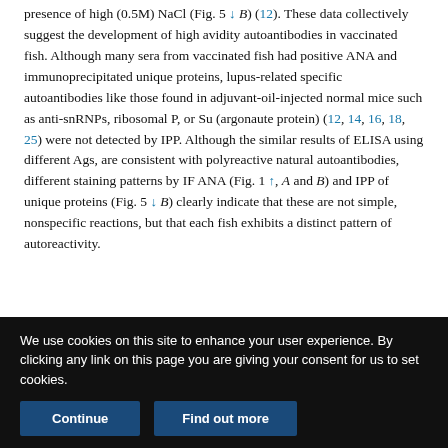presence of high (0.5M) NaCl (Fig. 5 ↓ B) (12). These data collectively suggest the development of high avidity autoantibodies in vaccinated fish. Although many sera from vaccinated fish had positive ANA and immunoprecipitated unique proteins, lupus-related specific autoantibodies like those found in adjuvant-oil-injected normal mice such as anti-snRNPs, ribosomal P, or Su (argonaute protein) (12, 14, 16, 18, 25) were not detected by IPP. Although the similar results of ELISA using different Ags, are consistent with polyreactive natural autoantibodies, different staining patterns by IF ANA (Fig. 1 ↑, A and B) and IPP of unique proteins (Fig. 5 ↓ B) clearly indicate that these are not simple, nonspecific reactions, but that each fish exhibits a distinct pattern of autoreactivity.
We use cookies on this site to enhance your user experience. By clicking any link on this page you are giving your consent for us to set cookies.